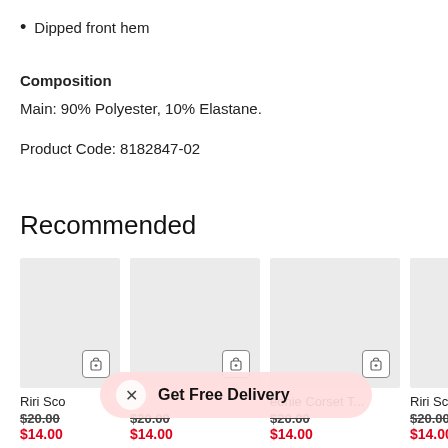Dipped front hem
Composition
Main: 90% Polyester, 10% Elastane.
Product Code: 8182847-02
Recommended
[Figure (screenshot): Four product cards showing recommended items with grey placeholder images, shopping bag icons, product names (Riri Sco..., [partially visible], eonie Corset T..., Riri Scoop N), original prices ($20.00 struck through) and sale prices ($14.00 in red)]
Get Free Delivery